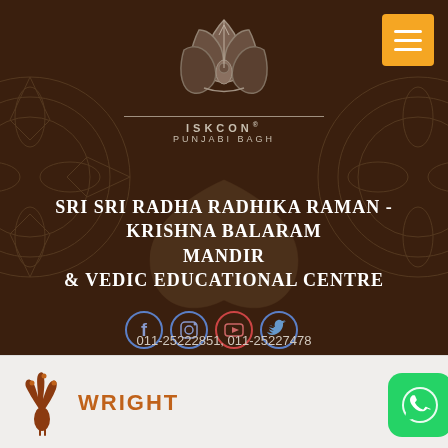[Figure (logo): ISKCON lotus logo with text ISKCON PUNJABI BAGH]
SRI SRI RADHA RADHIKA RAMAN - KRISHNA BALARAM MANDIR & VEDIC EDUCATIONAL CENTRE
[Figure (infographic): Four social media icons: Facebook, Instagram, YouTube, Twitter in circles]
011-25222851, 011-25227478
info@iskconpunjabibagh.com, iskconpbtemple@gmail.com
[Figure (logo): Wright brand logo with peacock icon]
[Figure (logo): WhatsApp button green rounded square]